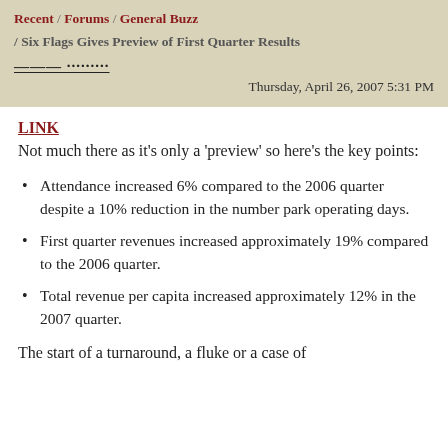Recent / Forums / General Buzz / Six Flags Gives Preview of First Quarter Results
Thursday, April 26, 2007 5:31 PM
LINK
Not much there as it's only a 'preview' so here's the key points:
Attendance increased 6% compared to the 2006 quarter despite a 10% reduction in the number park operating days.
First quarter revenues increased approximately 19% compared to the 2006 quarter.
Total revenue per capita increased approximately 12% in the 2007 quarter.
The start of a turnaround, a fluke or a case of